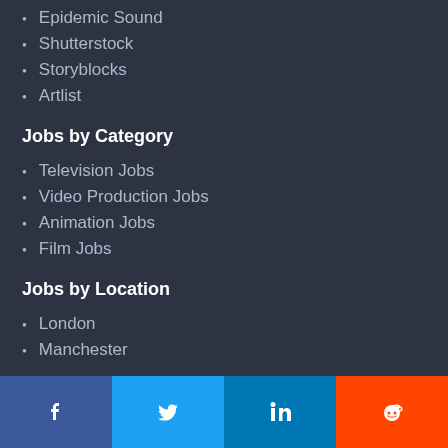Epidemic Sound
Shutterstock
Storyblocks
Artlist
Jobs by Category
Television Jobs
Video Production Jobs
Animation Jobs
Film Jobs
Jobs by Location
London
Manchester
Search Crew
Videographers
Video Editors